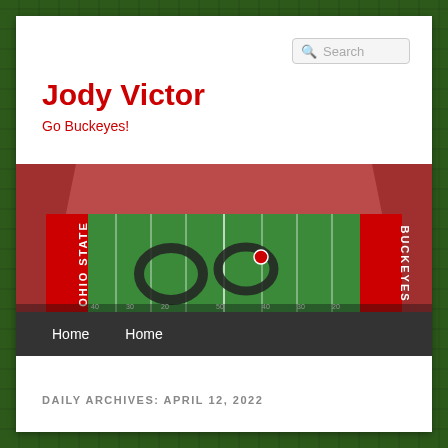Search
Jody Victor
Go Buckeyes!
[Figure (photo): Aerial view of Ohio State football stadium with 'OHIO STATE' painted on one end zone and 'BUCKEYES' on the other, marching band forming letter shapes on the field, packed with fans in red.]
Home   Home
DAILY ARCHIVES: APRIL 12, 2022